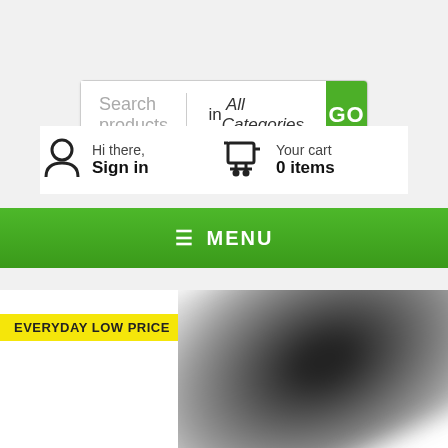Search products   in All Categories   GO
Hi there, Sign in
Your cart 0 items
MENU
EVERYDAY LOW PRICE
[Figure (photo): Blurred product photo on white/gray background]